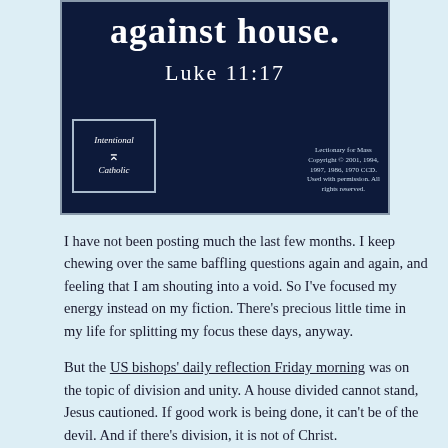[Figure (illustration): Dark navy blue banner image with white text reading 'against house.' and 'Luke 11:17' with an 'Intentional Catholic' logo box in the lower left and a Lectionary copyright notice in the lower right.]
I have not been posting much the last few months. I keep chewing over the same baffling questions again and again, and feeling that I am shouting into a void. So I've focused my energy instead on my fiction. There's precious little time in my life for splitting my focus these days, anyway.
But the US bishops' daily reflection Friday morning was on the topic of division and unity. A house divided cannot stand, Jesus cautioned. If good work is being done, it can't be of the devil. And if there's division, it is not of Christ.
The Church is a hot mess of division right now, just as our